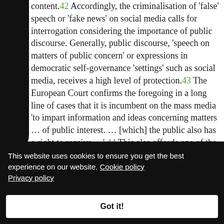content.42 Accordingly, the criminalisation of 'false' speech or 'fake news' on social media calls for interrogation considering the importance of public discourse. Generally, public discourse, 'speech on matters of public concern' or expressions in democratic self-governance 'settings' such as social media, receives a high level of protection.43 The European Court confirms the foregoing in a long line of cases that it is incumbent on the mass media 'to impart information and ideas concerning matters … of public interest. … [which] the public also has a right to receive …'.44 This also affords one of the best means of forming opinion on the attitudes of
This website uses cookies to ensure you get the best experience on our website. Cookie policy Privacy policy
Got it!